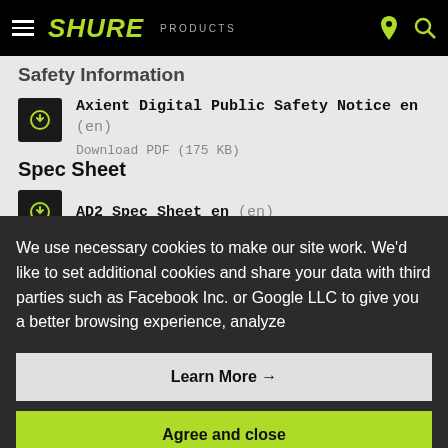SHURE | PRODUCTS
Safety Information
Axient Digital Public Safety Notice en (en)
Download PDF (175 KB)
Spec Sheet
AD2 Spec Sheet en (en)
We use necessary cookies to make our site work. We'd like to set additional cookies and share your data with third parties such as Facebook Inc. or Google LLC to give you a better browsing experience, analyze
Learn More →
Agree and close